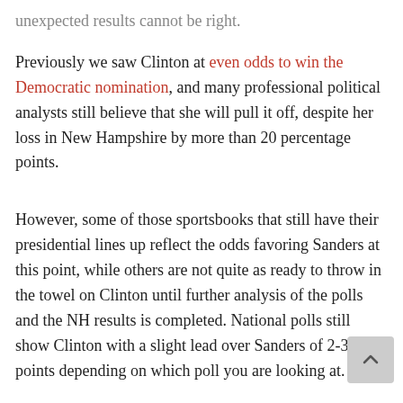unexpected results cannot be right. Previously we saw Clinton at even odds to win the Democratic nomination, and many professional political analysts still believe that she will pull it off, despite her loss in New Hampshire by more than 20 percentage points.
However, some of those sportsbooks that still have their presidential lines up reflect the odds favoring Sanders at this point, while others are not quite as ready to throw in the towel on Clinton until further analysis of the polls and the NH results is completed. National polls still show Clinton with a slight lead over Sanders of 2-3 points depending on which poll you are looking at.